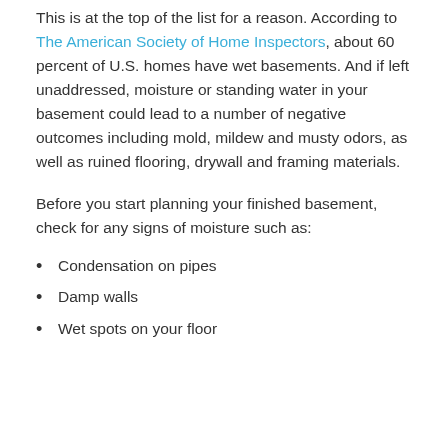This is at the top of the list for a reason. According to The American Society of Home Inspectors, about 60 percent of U.S. homes have wet basements. And if left unaddressed, moisture or standing water in your basement could lead to a number of negative outcomes including mold, mildew and musty odors, as well as ruined flooring, drywall and framing materials.
Before you start planning your finished basement, check for any signs of moisture such as:
Condensation on pipes
Damp walls
Wet spots on your floor